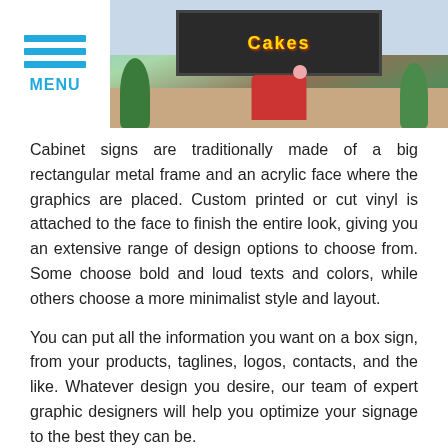MENU
[Figure (photo): Billboard sign showing 'Cakes' text with building and trees in background]
Cabinet signs are traditionally made of a big rectangular metal frame and an acrylic face where the graphics are placed. Custom printed or cut vinyl is attached to the face to finish the entire look, giving you an extensive range of design options to choose from. Some choose bold and loud texts and colors, while others choose a more minimalist style and layout.
You can put all the information you want on a box sign, from your products, taglines, logos, contacts, and the like. Whatever design you desire, our team of expert graphic designers will help you optimize your signage to the best they can be.
GET A FREE QUOTE
Highly Customizable